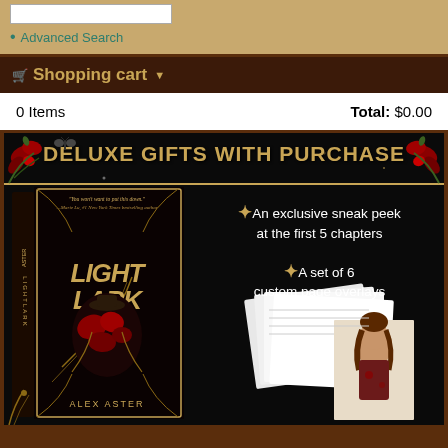Advanced Search
Shopping cart
|  |  |
| --- | --- |
| 0 Items | Total: $0.00 |
[Figure (illustration): Promotional banner for Lightlark by Alex Aster. Black background with red floral decorations. Shows book cover on left with title LIGHTLARK and author ALEX ASTER. Right side shows golden text: DELUXE GIFTS WITH PURCHASE with bullet points: An exclusive sneak peek at the first 5 chapters; A set of 6 custom page overlays. Bottom right shows physical page overlay cards/bookmarks.]